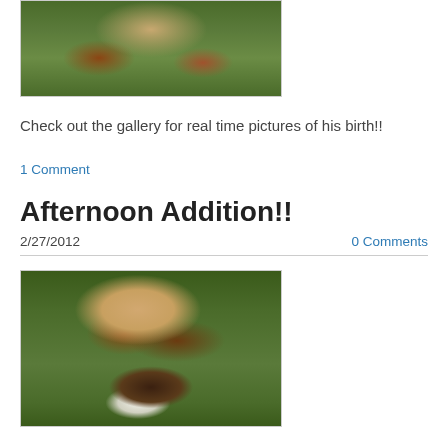[Figure (photo): Top portion of a brown and white cow or calf standing in green grass, cropped to show mainly the body]
Check out the gallery for real time pictures of his birth!!
1 Comment
Afternoon Addition!!
2/27/2012
0 Comments
[Figure (photo): A Hereford cow nuzzling a newborn calf lying on green grass]